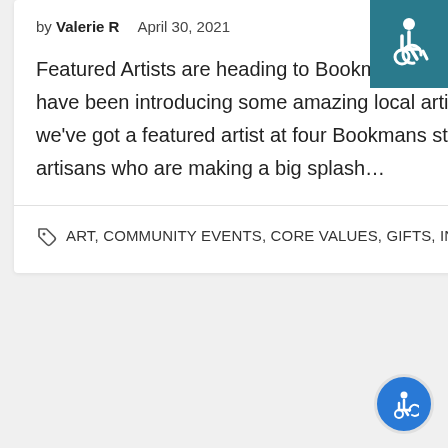by Valerie R   April 30, 2021
Featured Artists are heading to Bookmans stores throughout Arizona! Bookmans stores have been introducing some amazing local artists to our spaces since February. This May we've got a featured artist at four Bookmans stores! Tucson welcomes three incredible artisans who are making a big splash…
ART, COMMUNITY EVENTS, CORE VALUES, GIFTS, IN OUR STORES, INSPIRATION, MERCHANDISE, ...